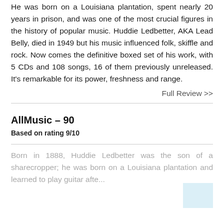He was born on a Louisiana plantation, spent nearly 20 years in prison, and was one of the most crucial figures in the history of popular music. Huddie Ledbetter, AKA Lead Belly, died in 1949 but his music influenced folk, skiffle and rock. Now comes the definitive boxed set of his work, with 5 CDs and 108 songs, 16 of them previously unreleased. It's remarkable for its power, freshness and range.
Full Review >>
AllMusic – 90
Based on rating 9/10
Born in 1888, Huddie Ledbetter was the son of a sharecropper; he was born on a Louisiana plantation and learned to play guitar after...